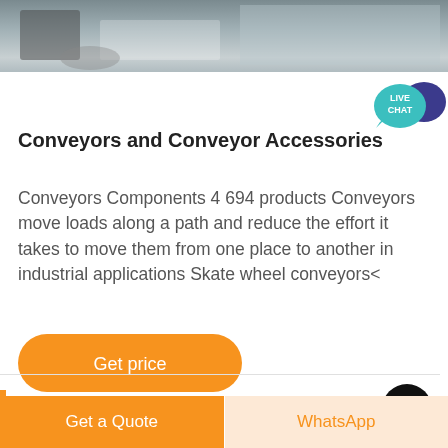[Figure (photo): Partial view of a conveyor or industrial equipment photo at top of page, appearing cut off]
[Figure (infographic): Live Chat speech bubble icon in teal/blue in upper right corner]
Conveyors and Conveyor Accessories
Conveyors Components 4 694 products Conveyors move loads along a path and reduce the effort it takes to move them from one place to another in industrial applications Skate wheel conveyors<
[Figure (other): Orange rounded rectangle button labeled 'Get price']
[Figure (other): Black circular scroll-to-top button with upward chevron]
Get a Quote   WhatsApp